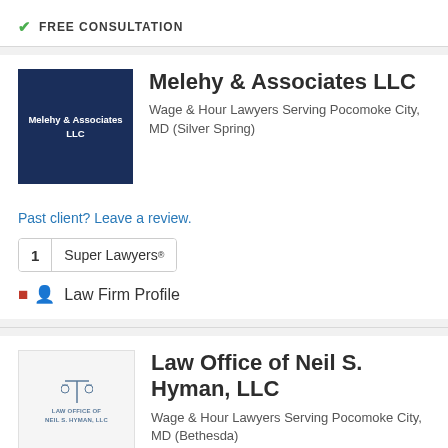FREE CONSULTATION
[Figure (logo): Melehy & Associates LLC logo — dark navy blue square with white text]
Melehy & Associates LLC
Wage & Hour Lawyers Serving Pocomoke City, MD (Silver Spring)
Past client? Leave a review.
1  Super Lawyers®
Law Firm Profile
[Figure (logo): Law Office of Neil S. Hyman LLC logo — scales of justice icon with text]
Law Office of Neil S. Hyman, LLC
Wage & Hour Lawyers Serving Pocomoke City, MD (Bethesda)